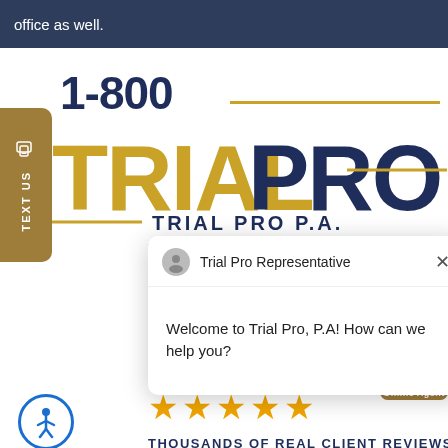office as well.
1-800
[Figure (logo): Trial Pro P.A. logo with TRIAL in gold and PRO in dark navy, plus TRIAL PRO P.A. subtitle]
[Figure (screenshot): Chat popup overlay: Trial Pro Representative - Welcome to Trial Pro, P.A! How can we help you?]
[Figure (infographic): Red CALL NOW button with phone icon and notification badge showing 1]
[Figure (photo): Online agent photo with green status dot and Online Agent label]
[Figure (infographic): Five gold star rating icons]
THOUSANDS OF REAL CLIENT REVIEWS